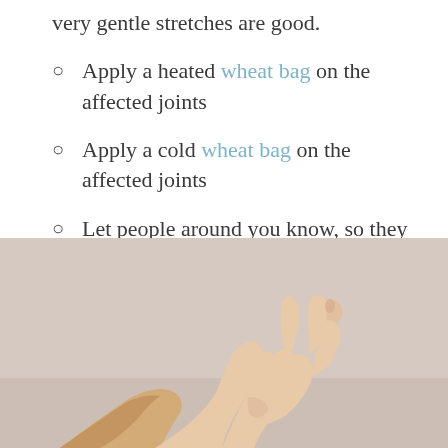very gentle stretches are good.
Apply a heated wheat bag on the affected joints
Apply a cold wheat bag on the affected joints
Let people around you know, so they can help and support you.
[Figure (photo): A hand with fingers slightly curled, photographed against a warm beige/grey background, wearing what appears to be a patterned garment at the bottom edge. The photo depicts joint/hand related to arthritis content.]